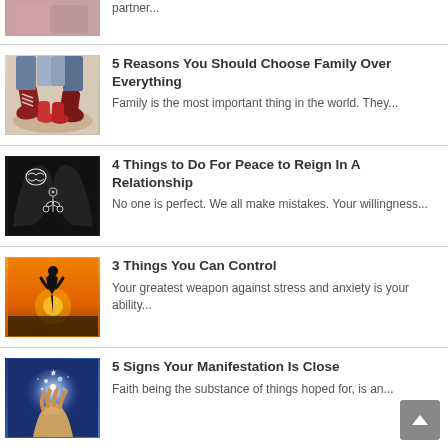[Figure (photo): Partial view of couple or people, top of image cut off]
partner...
[Figure (photo): Overhead view of two pairs of feet/shoes - adult sneakers and child shoes on sandy ground]
5 Reasons You Should Choose Family Over Everything
Family is the most important thing in the world. They...
[Figure (illustration): Black silhouette illustration of two face profiles with brain and floral elements between them]
4 Things to Do For Peace to Reign In A Relationship
No one is perfect. We all make mistakes. Your willingness...
[Figure (photo): Silhouette of person praying against orange sunset sky]
3 Things You Can Control
Your greatest weapon against stress and anxiety is your ability...
[Figure (photo): Hand holding glowing light particles against blue background, manifestation concept]
5 Signs Your Manifestation Is Close
Faith being the substance of things hoped for, is an...